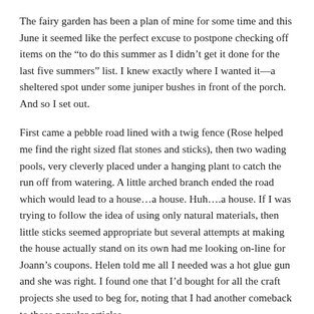The fairy garden has been a plan of mine for some time and this June it seemed like the perfect excuse to postpone checking off items on the “to do this summer as I didn’t get it done for the last five summers” list. I knew exactly where I wanted it—a sheltered spot under some juniper bushes in front of the porch. And so I set out.
First came a pebble road lined with a twig fence (Rose helped me find the right sized flat stones and sticks), then two wading pools, very cleverly placed under a hanging plant to catch the run off from watering. A little arched branch ended the road which would lead to a house…a house. Huh….a house. If I was trying to follow the idea of using only natural materials, then little sticks seemed appropriate but several attempts at making the house actually stand on its own had me looking on-line for Joann’s coupons. Helen told me all I needed was a hot glue gun and she was right. I found one that I’d bought for all the craft projects she used to beg for, noting that I had another comeback to those popular articles